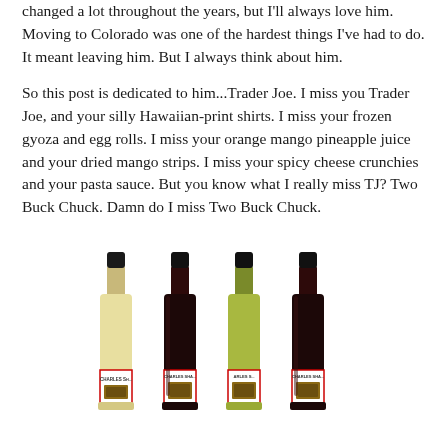changed a lot throughout the years, but I'll always love him. Moving to Colorado was one of the hardest things I've had to do. It meant leaving him. But I always think about him.
So this post is dedicated to him...Trader Joe. I miss you Trader Joe, and your silly Hawaiian-print shirts. I miss your frozen gyoza and egg rolls. I miss your orange mango pineapple juice and your dried mango strips. I miss your spicy cheese crunchies and your pasta sauce. But you know what I really miss TJ? Two Buck Chuck. Damn do I miss Two Buck Chuck.
[Figure (photo): Four bottles of Charles Shaw wine (Two Buck Chuck) standing in a row — one white/cream colored, two dark/red, one yellow-green, and one dark. Labels read 'CHARLES SHA...' on each bottle.]